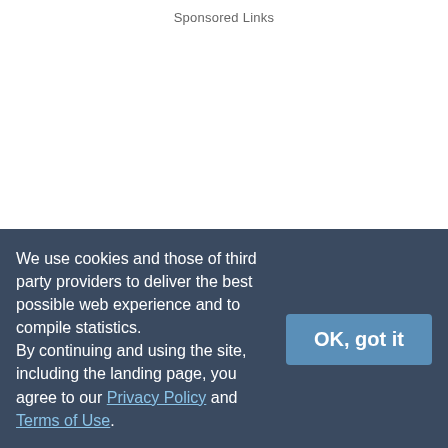Sponsored Links
string to the rubber band. Fasten the string so that the ball hangs down and can swing freely. Mark a regular grid on cardboard, and place it directly beneath the ball to measure the motion. You can also time the oscillations with a stopwatch. Lift the ball along one of the grid axes, and let it go. Observe the motion and record… Read more
We use cookies and those of third party providers to deliver the best possible web experience and to compile statistics. By continuing and using the site, including the landing page, you agree to our Privacy Policy and Terms of Use.